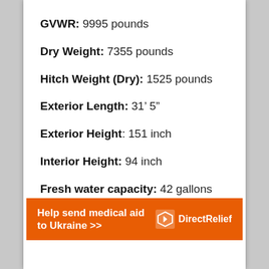GVWR: 9995 pounds
Dry Weight: 7355 pounds
Hitch Weight (Dry): 1525 pounds
Exterior Length: 31’ 5”
Exterior Height: 151 inch
Interior Height: 94 inch
Fresh water capacity: 42 gallons
[Figure (infographic): Orange advertisement banner: 'Help send medical aid to Ukraine >>' with Direct Relief logo on the right]